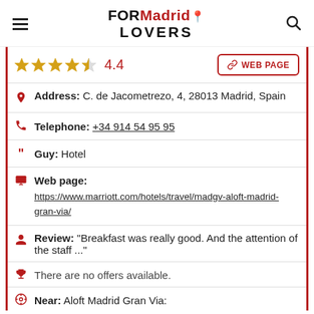FORMadrid LOVERS
★★★★☆ 4.4  WEB PAGE
Address: C. de Jacometrezo, 4, 28013 Madrid, Spain
Telephone: +34 914 54 95 95
Guy: Hotel
Web page:
https://www.marriott.com/hotels/travel/madgv-aloft-madrid-gran-via/
Review: "Breakfast was really good. And the attention of the staff ..."
There are no offers available.
Near: Aloft Madrid Gran Via: